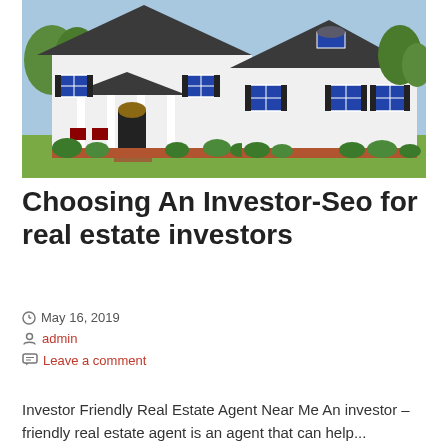[Figure (photo): A white two-story suburban house with dark shutters, a covered front porch with red chairs, brick foundation, and a well-maintained green lawn with shrubs. Clear sky with trees in background.]
Choosing An Investor-Seo for real estate investors
May 16, 2019
admin
Leave a comment
Investor Friendly Real Estate Agent Near Me An investor – friendly real estate agent is an agent that can help...